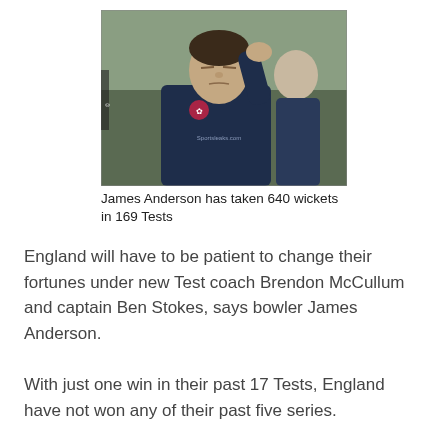[Figure (photo): James Anderson in a dark navy England cricket training top with the England rose badge, hand raised near his ear, another player blurred in the background]
James Anderson has taken 640 wickets in 169 Tests
England will have to be patient to change their fortunes under new Test coach Brendon McCullum and captain Ben Stokes, says bowler James Anderson.
With just one win in their past 17 Tests, England have not won any of their past five series.
The squad for the first Test against world champions New Zealand on 2 June at Lord's will